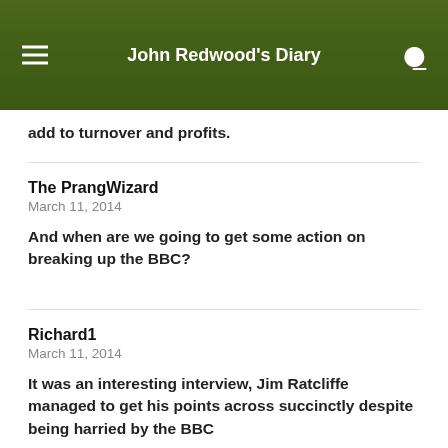John Redwood's Diary
add to turnover and profits.
The PrangWizard
March 11, 2014
And when are we going to get some action on breaking up the BBC?
Richard1
March 11, 2014
It was an interesting interview, Jim Ratcliffe managed to get his points across succinctly despite being harried by the BBC